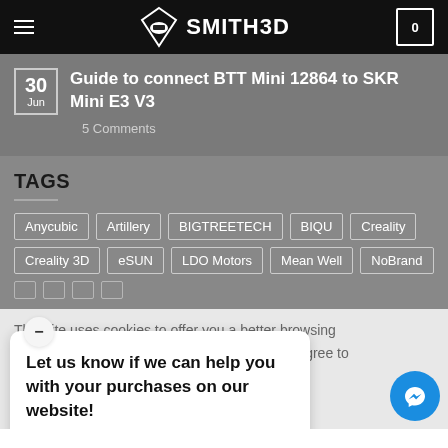SMITH3D
Guide to connect BTT Mini 12864 to SKR Mini E3 V3
5 Comments
TAGS
Anycubic
Artillery
BIGTREETECH
BIQU
Creality
Creality 3D
eSUN
LDO Motors
Mean Well
NoBrand
This site uses cookies to offer you a better browsing ... you agree to
Let us know if we can help you with your purchases on our website!